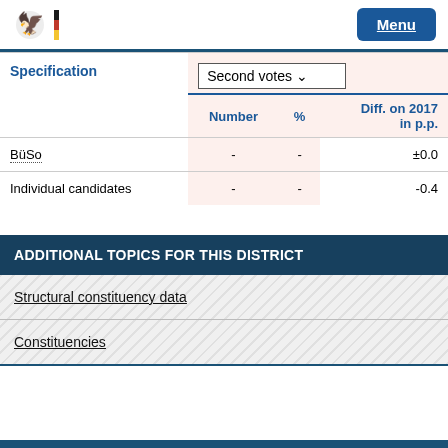Menu
| Specification | Number | % | Diff. on 2017 in p.p. |
| --- | --- | --- | --- |
| BüSo | - | - | ±0.0 |
| Individual candidates | - | - | -0.4 |
ADDITIONAL TOPICS FOR THIS DISTRICT
Structural constituency data
Constituencies